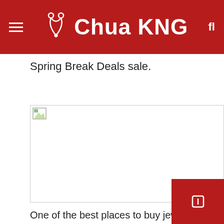Chua KNG
Spring Break Deals sale.
[Figure (photo): Broken/unloaded image placeholder with border]
One of the best places to buy jewelry online is Blue Nile. Right now, customers can save up to 30% on their purchase and get free shipping when sell jewelry for all occasions. redeem code BN2021 the register.